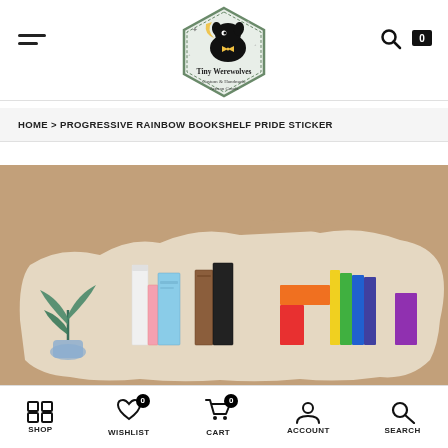[Figure (logo): Tiny Werewolves logo — hexagon badge with a black dog silhouette, crescent moon, and text 'Tiny Werewolves / Custom & Handmade Artisan Goods']
HOME > PROGRESSIVE RAINBOW BOOKSHELF PRIDE STICKER
[Figure (photo): Product photo of the Progressive Rainbow Bookshelf Pride Sticker shown against a kraft paper background. The sticker depicts a colorful bookshelf with rainbow-colored books and a plant.]
SHOP   WISHLIST   CART   ACCOUNT   SEARCH